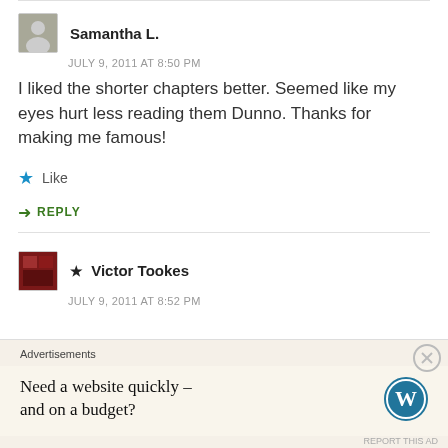Samantha L.
JULY 9, 2011 AT 8:50 PM
I liked the shorter chapters better. Seemed like my eyes hurt less reading them Dunno. Thanks for making me famous!
Like
REPLY
★ Victor Tookes
JULY 9, 2011 AT 8:52 PM
Advertisements
Need a website quickly – and on a budget?